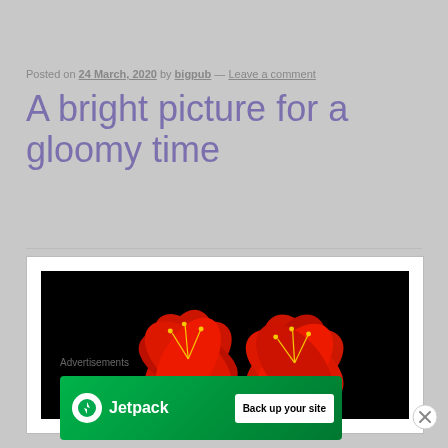Posted on 24 March, 2020 by bigpub — Leave a comment
A bright picture for a gloomy time
[Figure (photo): Two bright red flowers with yellow stamens against a black background, displayed inside a white-framed box]
Advertisements
[Figure (other): Jetpack advertisement banner with green background, Jetpack logo and 'Back up your site' button]